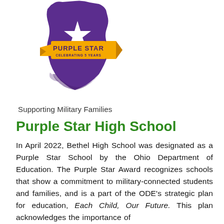[Figure (logo): Purple Star award logo showing Ohio state outline in purple with a white star, a gold/yellow banner ribbon across the middle reading 'PURPLE STAR CELEBRATING 5 YEARS']
Supporting Military Families
Purple Star High School
In April 2022, Bethel High School was designated as a Purple Star School by the Ohio Department of Education. The Purple Star Award recognizes schools that show a commitment to military-connected students and families, and is a part of the ODE's strategic plan for education, Each Child, Our Future. This plan acknowledges the importance of